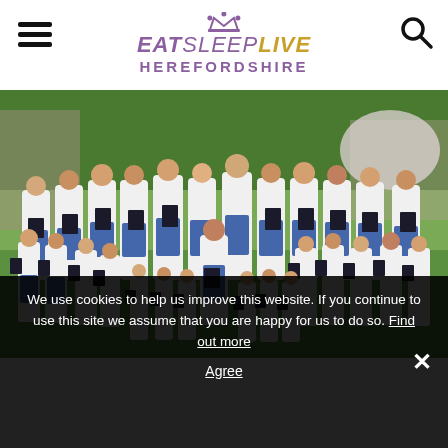Eat Sleep Live Herefordshire — navigation header with logo, hamburger menu, and search icon
[Figure (photo): Group photo of a cathedral choir in white and blue robes holding black folders, posed outdoors on a lawn with trees and a stone building in the background.]
We use cookies to help us improve this website. If you continue to use this site we assume that you are happy for us to do so. Find out more
Agree